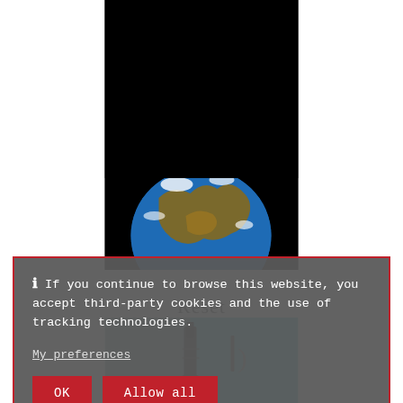[Figure (photo): Book cover image showing a red 'RESET' label/button on a black background with the Earth globe visible at the bottom]
Reset
⓵ If you continue to browse this website, you accept third-party cookies and the use of tracking technologies.
My preferences
OK  Allow all
[Figure (photo): Partial bottom image showing what appears to be a dark mechanical object on a cyan/teal background]